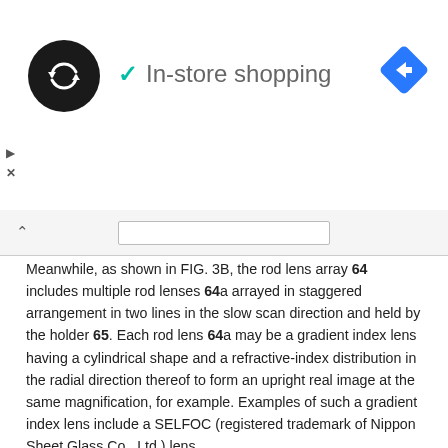[Figure (logo): Black circle logo with white infinity/swap arrows icon]
[Figure (infographic): Green checkmark followed by 'In-store shopping' text label]
[Figure (logo): Blue diamond navigation arrow icon (top right)]
[Figure (infographic): Small play triangle and X icons (ad controls, top left)]
Meanwhile, as shown in FIG. 3B, the rod lens array 64 includes multiple rod lenses 64a arrayed in staggered arrangement in two lines in the slow scan direction and held by the holder 65. Each rod lens 64a may be a gradient index lens having a cylindrical shape and a refractive-index distribution in the radial direction thereof to form an upright real image at the same magnification, for example. Examples of such a gradient index lens include a SELFOC (registered trademark of Nippon Sheet Glass Co., Ltd.) lens.
FIG. 4 is an enlarged view of a region in which the light-emitting chips C1, C2 and C3 are connected in the above light-emitting unit 63. Here, each of the light-emitting chips C1 to C60 has the same structure. Take the light-emitting chip C2 for example. It includes a chip substrate 70 and a light-emitting element array 71. The chip substrate 70 as an example of a substrate has a rectangular shape. The light-emitting element array 71 as an example of a light-emitting element array includes light-emitting elements arranged in a line extending in a longitudinal direction on the top surface of the chip substrate 70. Specifically, the light-emitting element array 71 has 200 light-emitting elements arranged in a line for multiple light...